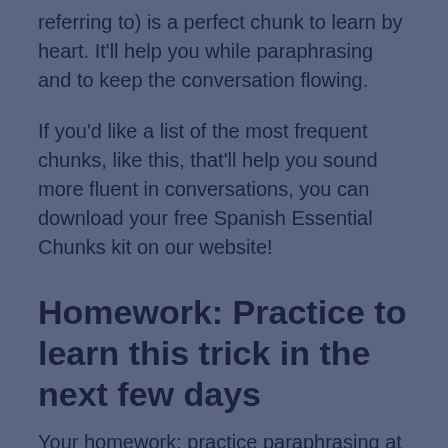referring to) is a perfect chunk to learn by heart. It'll help you while paraphrasing and to keep the conversation flowing.
If you'd like a list of the most frequent chunks, like this, that'll help you sound more fluent in conversations, you can download your free Spanish Essential Chunks kit on our website!
Homework: Practice to learn this trick in the next few days
Your homework: practice paraphrasing at least once a day in the coming week! How? Write down a sentence in Spanish, scratch out one word and